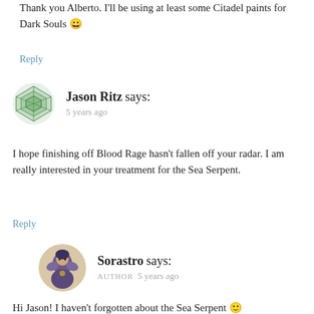Thank you Alberto. I'll be using at least some Citadel paints for Dark Souls 😀
Reply
Jason Ritz says: 5 years ago
I hope finishing off Blood Rage hasn't fallen off your radar. I am really interested in your treatment for the Sea Serpent.
Reply
Sorastro says: AUTHOR 5 years ago
Hi Jason! I haven't forgotten about the Sea Serpent 🙂